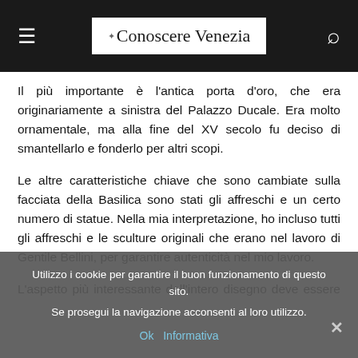Conoscere Venezia
Il più importante è l'antica porta d'oro, che era originariamente a sinistra del Palazzo Ducale. Era molto ornamentale, ma alla fine del XV secolo fu deciso di smantellarlo e fonderlo per altri scopi.
Le altre caratteristiche chiave che sono cambiate sulla facciata della Basilica sono stati gli affreschi e un certo numero di statue. Nella mia interpretazione, ho incluso tutti gli affreschi e le sculture originali che erano nel lavoro di Gentile Bellini, per garantire autenticità nel mio lavoro.
L'aspetto più interessante dell'intero disegno deve essere la
Utilizzo i cookie per garantire il buon funzionamento di questo sito. Se prosegui la navigazione acconsenti al loro utilizzo.
Ok  Informativa